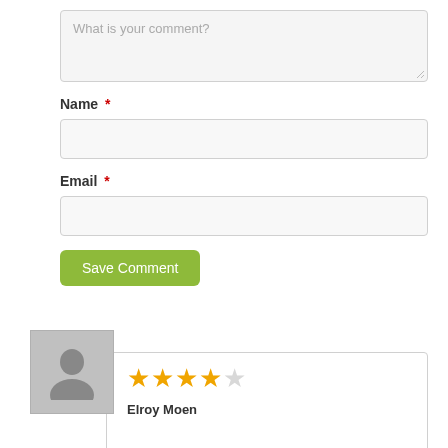[Figure (screenshot): Comment form textarea with placeholder text 'What is your comment?']
Name *
[Figure (screenshot): Name input field (empty text box)]
Email *
[Figure (screenshot): Email input field (empty text box)]
Save Comment
[Figure (screenshot): User avatar placeholder (gray silhouette) with a review card showing 4 out of 5 stars and reviewer name Elroy Moen]